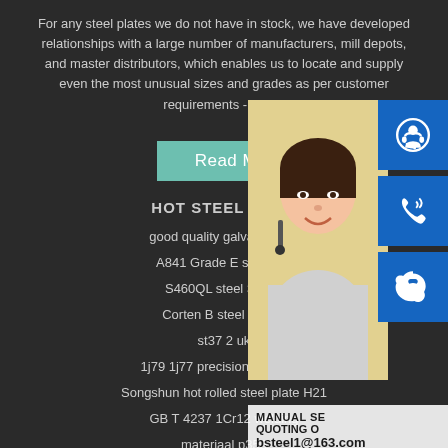For any steel plates we do not have in stock, we have developed relationships with a large number of manufacturers, mill depots, and master distributors, which enables us to locate and supply even the most unusual sizes and grades as per customer requirements - so cal
Read More
HOT STEEL PROD
good quality galvanized st
A841 Grade E steel gra
S460QL steel Specs
Corten B steel price li
st37 2 uk
1j79 1j77 precision alloy strip
Songshun hot rolled steel plate H21
GB T 4237 1Cr12 welding
materiaal p355
hotel round stainless flower tray with bronze serving tray
[Figure (photo): Customer service representative (woman with headset) with contact icons (headset, phone, Skype) and contact info overlay showing MANUAL SE, QUOTING O, bsteel1@163.com]